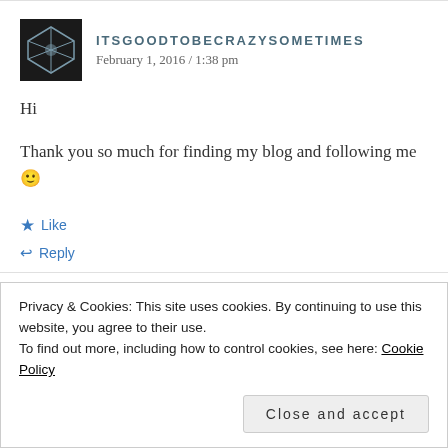ITSGOODTOBECRAZYSOMETIMES
February 1, 2016 / 1:38 pm
Hi
Thank you so much for finding my blog and following me 🙂
★ Like
↩ Reply
Privacy & Cookies: This site uses cookies. By continuing to use this website, you agree to their use.
To find out more, including how to control cookies, see here: Cookie Policy
Close and accept